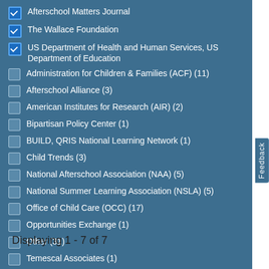Afterschool Matters Journal (checked)
The Wallace Foundation (checked)
US Department of Health and Human Services, US Department of Education (checked)
Administration for Children & Families (ACF) (11)
Afterschool Alliance (3)
American Institutes for Research (AIR) (2)
Bipartisan Policy Center (1)
BUILD, QRIS National Learning Network (1)
Child Trends (3)
National Afterschool Association (NAA) (5)
National Summer Learning Association (NSLA) (5)
Office of Child Care (OCC) (17)
Opportunities Exchange (1)
Other (31)
Temescal Associates (1)
Urban Institute (2)
Displaying 1 - 7 of 7